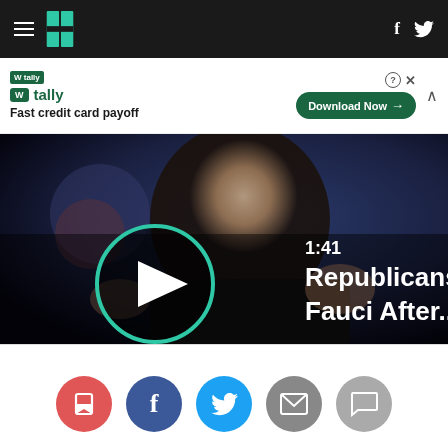HuffPost navigation with hamburger menu, logo, Facebook and Twitter icons
[Figure (screenshot): Advertisement banner for Tally - Fast credit card payoff with Download Now button]
[Figure (screenshot): Video thumbnail showing a man in glasses (Fauci) with text overlay: 1:41 Republicans Rip Fauci After... with play button circle]
[Figure (infographic): Social share buttons row: bookmark (red), Facebook (blue), Twitter (light blue), email (gray), comment (gray)]